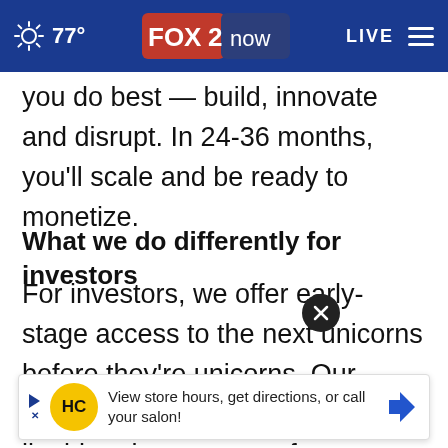77° FOX 2 now LIVE
you do best — build, innovate and disrupt. In 24-36 months, you'll scale and be ready to monetize.
What we do differently for investors
For investors, we offer early-stage access to the next unicorns before they're unicorns. Our portfolio represents a uniquely liquid and secure way for investors to get access to the latest cutting-edge us on market-ready solutions that scale quickly, we're
[Figure (screenshot): Advertisement banner: HC logo with text 'View store hours, get directions, or call your salon!' with navigation arrow icon]